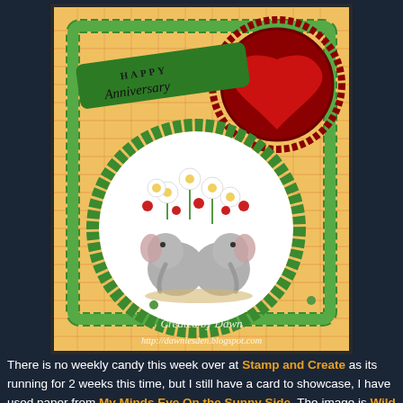[Figure (photo): A handmade Happy Anniversary card featuring two elephant characters cuddling beneath flowers, with a red heart balloon and green doily decorations. Text 'Created by Dawn' and 'http://dawniesden.blogspot.com' overlaid on the card image.]
There is no weekly candy this week over at Stamp and Create as its running for 2 weeks this time, but I still have a card to showcase, I have used paper from My Minds Eye On the Sunny Side. The image is Wild Rose Studio Floral Hugs. It is coloured with Prisma pencils & I have added Glossy Accents onto the flowers to give a little dimension. The image is mounted onto a Nestie die cut & I have used a smaller die cut to effect, onto which I have added a fabric